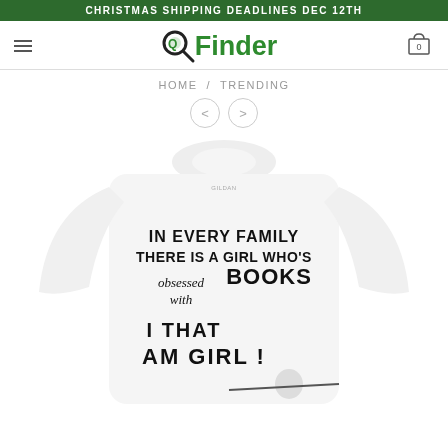CHRISTMAS SHIPPING DEADLINES DEC 12TH
[Figure (logo): QFinder logo with magnifying glass icon and green text]
HOME / TRENDING
[Figure (photo): White long-sleeve sweatshirt with text: IN EVERY FAMILY THERE IS A GIRL WHO'S obsessed with BOOKS I THAT AM GIRL! with an illustration of a girl reading a book]